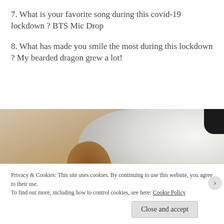7. What is your favorite song during this covid-19 lockdown ? BTS Mic Drop
8. What has made you smile the most during this lockdown ? My bearded dragon grew a lot!
[Figure (photo): Close-up photo of a bearded dragon's head on a fluffy white surface, with a dark background in the upper right corner.]
Privacy & Cookies: This site uses cookies. By continuing to use this website, you agree to their use.
To find out more, including how to control cookies, see here: Cookie Policy
Close and accept